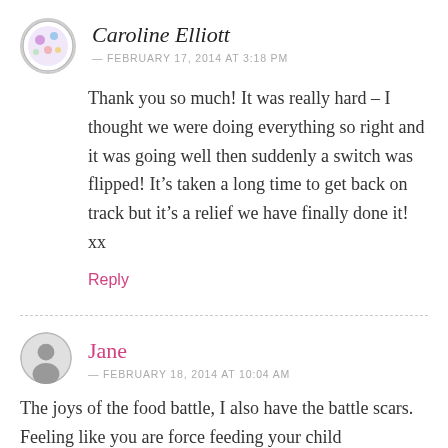Caroline Elliott
— FEBRUARY 17, 2014 AT 3:18 PM
Thank you so much! It was really hard – I thought we were doing everything so right and it was going well then suddenly a switch was flipped! It's taken a long time to get back on track but it's a relief we have finally done it! xx
Reply
Jane
— FEBRUARY 18, 2014 AT 10:04 AM
The joys of the food battle, I also have the battle scars. Feeling like you are force feeding your child